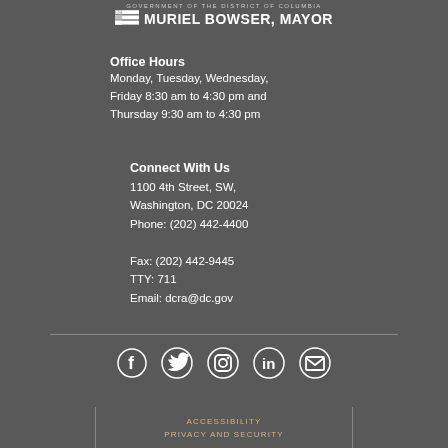GOVERNMENT OF THE DISTRICT OF COLUMBIA — DC MURIEL BOWSER, MAYOR
Office Hours
Monday, Tuesday, Wednesday, Friday 8:30 am to 4:30 pm and Thursday 9:30 am to 4:30 pm
Connect With Us
1100 4th Street, SW, Washington, DC 20024
Phone: (202) 442-4400
Fax: (202) 442-9445
TTY: 711
Email: dcra@dc.gov
[Figure (infographic): Social media icons: Facebook, Twitter, Instagram, LinkedIn, Email]
ACCESSIBILITY
PRIVACY AND SECURITY